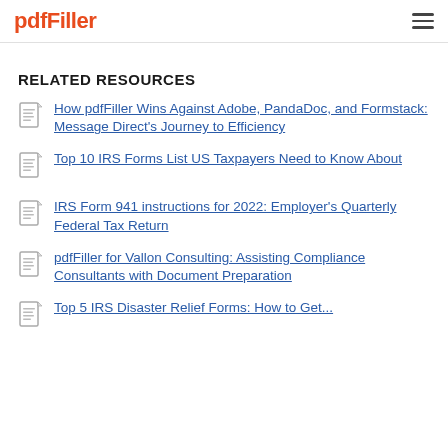pdfFiller
RELATED RESOURCES
How pdfFiller Wins Against Adobe, PandaDoc, and Formstack: Message Direct’s Journey to Efficiency
Top 10 IRS Forms List US Taxpayers Need to Know About
IRS Form 941 instructions for 2022: Employer’s Quarterly Federal Tax Return
pdfFiller for Vallon Consulting: Assisting Compliance Consultants with Document Preparation
Top 5 IRS Disaster Relief Forms: How to Get...